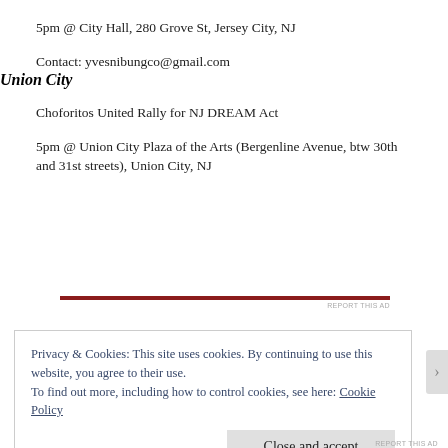5pm @ City Hall, 280 Grove St, Jersey City, NJ
Contact: yvesnibungco@gmail.com
Union City
Choforitos United Rally for NJ DREAM Act
5pm @ Union City Plaza of the Arts (Bergenline Avenue, btw 30th and 31st streets), Union City, NJ
Privacy & Cookies: This site uses cookies. By continuing to use this website, you agree to their use.
To find out more, including how to control cookies, see here: Cookie Policy
Close and accept